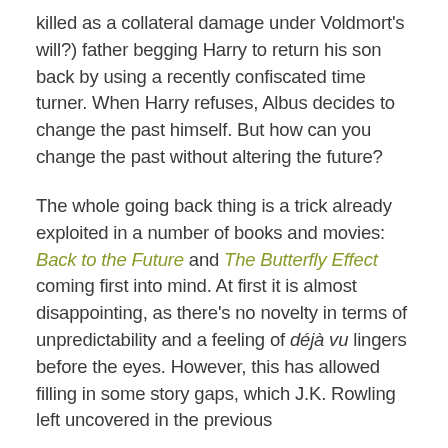killed as a collateral damage under Voldmort's will?) father begging Harry to return his son back by using a recently confiscated time turner. When Harry refuses, Albus decides to change the past himself. But how can you change the past without altering the future?
The whole going back thing is a trick already exploited in a number of books and movies: Back to the Future and The Butterfly Effect coming first into mind. At first it is almost disappointing, as there's no novelty in terms of unpredictability and a feeling of déjà vu lingers before the eyes. However, this has allowed filling in some story gaps, which J.K. Rowling left uncovered in the previous